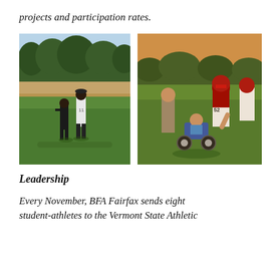projects and participation rates.
[Figure (photo): Two people standing on a baseball field, one wearing a baseball uniform with number 11, surrounded by green grass and trees in the background.]
[Figure (photo): Football players in maroon and white uniforms, including player number 52, interacting with a person in a wheelchair on a grass field at sunset.]
Leadership
Every November, BFA Fairfax sends eight student-athletes to the Vermont State Athletic